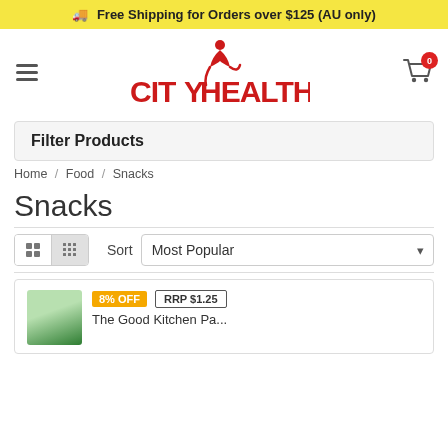Free Shipping for Orders over $125 (AU only)
[Figure (logo): City Health logo with red stylized figure above text reading CITY HEALTH]
Filter Products
Home / Food / Snacks
Snacks
Sort   Most Popular
8% OFF   RRP $1.25
The Good Kitchen Pea...